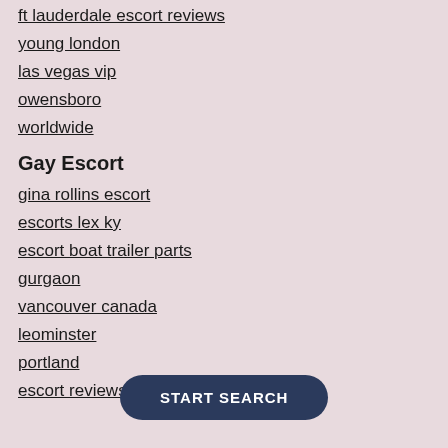ft lauderdale escort reviews
young london
las vegas vip
owensboro
worldwide
Gay Escort
gina rollins escort
escorts lex ky
escort boat trailer parts
gurgaon
vancouver canada
leominster
portland
escort reviews